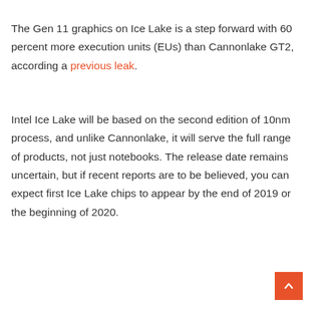The Gen 11 graphics on Ice Lake is a step forward with 60 percent more execution units (EUs) than Cannonlake GT2, according a previous leak.
Intel Ice Lake will be based on the second edition of 10nm process, and unlike Cannonlake, it will serve the full range of products, not just notebooks. The release date remains uncertain, but if recent reports are to be believed, you can expect first Ice Lake chips to appear by the end of 2019 or the beginning of 2020.